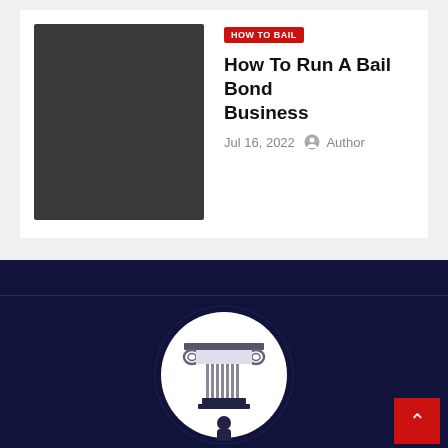[Figure (screenshot): Dark gray/charcoal rectangle representing a blog post thumbnail image]
HOW TO BAIL
How To Run A Bail Bond Business
Jul 16, 2022  Author
[Figure (logo): Circular logo with a white background and dark navy border, featuring a Greek/Ionic column capital illustration in gray, with a dark blue base element and what appears to be a person figure at the bottom]